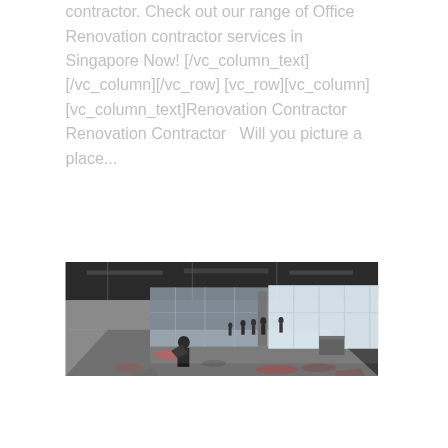contractor. Check out our range of Office Renovation contractor services in Singapore Now! [/vc_column_text][/vc_column][/vc_row] [vc_row][vc_column][vc_column_text]Renovation Contractor Renovation Contractor   Will you picture a place...
[Figure (photo): Interior photo of a large commercial office space under renovation. The space is largely empty with bare concrete floors and unfinished ceiling. Workers are visible as silhouettes in the background near large floor-to-ceiling windows letting in bright light. Construction materials and debris are scattered on the floor.]